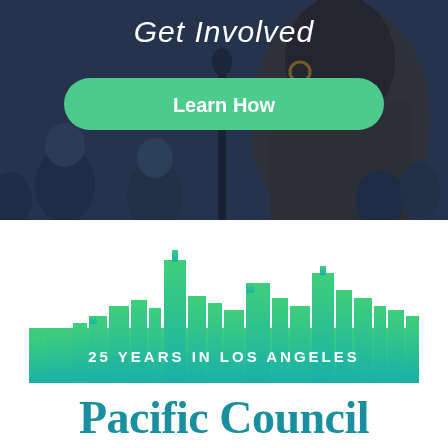Get Involved
Learn How
[Figure (logo): Pacific Council on International Policy logo featuring a green-to-teal gradient Los Angeles city skyline silhouette above the text '25 YEARS IN LOS ANGELES']
Pacific Council